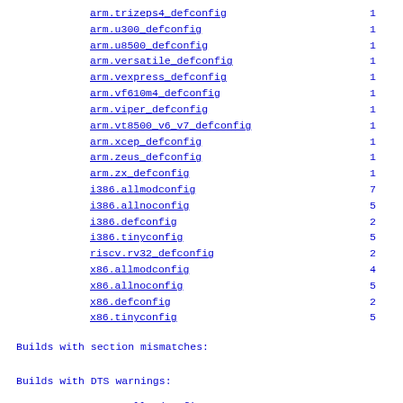arm.trizeps4_defconfig    1
arm.u300_defconfig    1
arm.u8500_defconfig    1
arm.versatile_defconfig    1
arm.vexpress_defconfig    1
arm.vf610m4_defconfig    1
arm.viper_defconfig    1
arm.vt8500_v6_v7_defconfig    1
arm.xcep_defconfig    1
arm.zeus_defconfig    1
arm.zx_defconfig    1
i386.allmodconfig    7
i386.allnoconfig    5
i386.defconfig    2
i386.tinyconfig    5
riscv.rv32_defconfig    2
x86.allmodconfig    4
x86.allnoconfig    5
x86.defconfig    2
x86.tinyconfig    5
Builds with section mismatches:
Builds with DTS warnings:
arm64.allmodconfig    3
arm64.defconfig    3
arm64.nosmp_defconfig    3